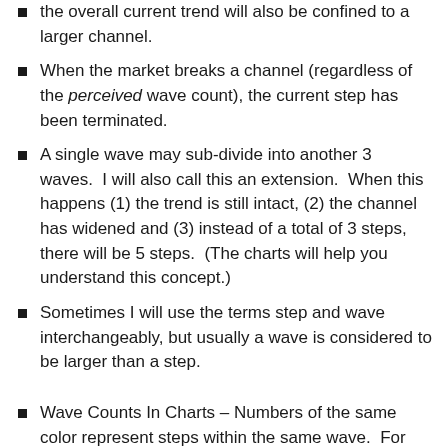the overall current trend will also be confined to a larger channel.
When the market breaks a channel (regardless of the perceived wave count), the current step has been terminated.
A single wave may sub-divide into another 3 waves.  I will also call this an extension.  When this happens (1) the trend is still intact, (2) the channel has widened and (3) instead of a total of 3 steps, there will be 5 steps.  (The charts will help you understand this concept.)
Sometimes I will use the terms step and wave interchangeably, but usually a wave is considered to be larger than a step.
Wave Counts In Charts – Numbers of the same color represent steps within the same wave.  For instance, red 1, red 2 and red 3 are steps within the same wave.